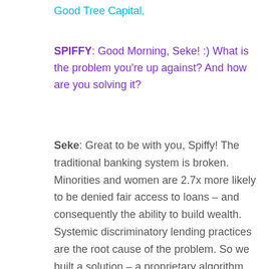Good Tree Capital.
SPIFFY: Good Morning, Seke! :) What is the problem you're up against? And how are you solving it?
Seke: Great to be with you, Spiffy! The traditional banking system is broken. Minorities and women are 2.7x more likely to be denied fair access to loans – and consequently the ability to build wealth. Systemic discriminatory lending practices are the root cause of the problem. So we built a solution – a proprietary algorithm that assesses credit risk using only predictive factors and determines the likelihood of default with significantly more accuracy, speed, and at a lower cost than traditional lenders to provide loans to